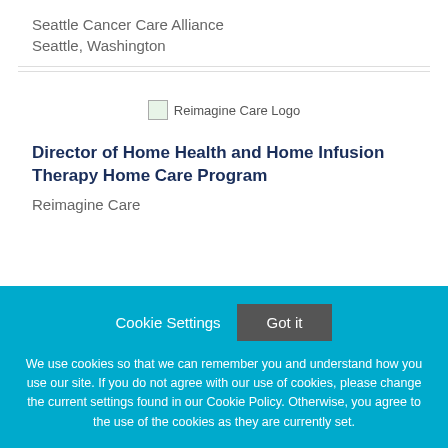Seattle Cancer Care Alliance
Seattle, Washington
[Figure (logo): Reimagine Care Logo placeholder image]
Director of Home Health and Home Infusion Therapy Home Care Program
Reimagine Care
Cookie Settings  Got it

We use cookies so that we can remember you and understand how you use our site. If you do not agree with our use of cookies, please change the current settings found in our Cookie Policy. Otherwise, you agree to the use of the cookies as they are currently set.